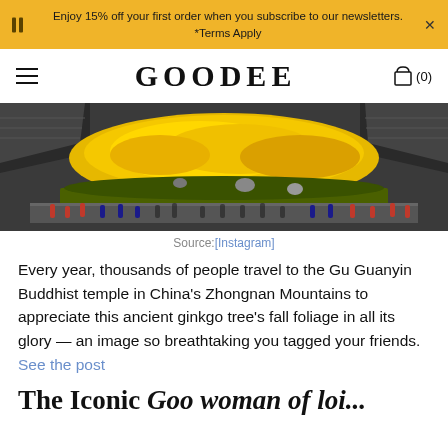Enjoy 15% off your first order when you subscribe to our newsletters. *Terms Apply
GOODEE
[Figure (photo): Aerial view of the Gu Guanyin Buddhist temple courtyard covered in bright yellow ginkgo leaves, surrounded by traditional Chinese architecture with dark tiled roofs and tourists along the walls.]
Source:[Instagram]
Every year, thousands of people travel to the Gu Guanyin Buddhist temple in China's Zhongnan Mountains to appreciate this ancient ginkgo tree's fall foliage in all its glory — an image so breathtaking you tagged your friends. See the post
The Iconic Goo woman of loi...